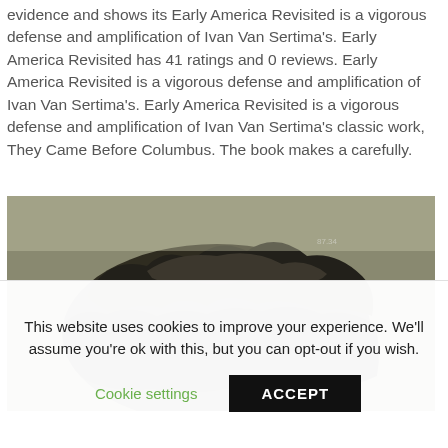evidence and shows its Early America Revisited is a vigorous defense and amplification of Ivan Van Sertima's. Early America Revisited has 41 ratings and 0 reviews. Early America Revisited is a vigorous defense and amplification of Ivan Van Sertima's. Early America Revisited is a vigorous defense and amplification of Ivan Van Sertima's classic work, They Came Before Columbus. The book makes a carefully.
[Figure (photo): A dark, grainy historical photograph showing a large rocky formation or sculpture, possibly an ancient stone head or rock formation, with a small annotation reading '87.34' visible in the upper right area.]
This website uses cookies to improve your experience. We'll assume you're ok with this, but you can opt-out if you wish.
Cookie settings   ACCEPT